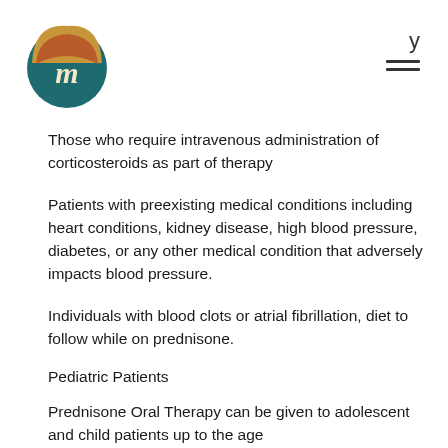y ☰
[Figure (logo): Circular logo with stylized 'm' letter, teal background with gold/brown arc shape on top]
Those who require intravenous administration of corticosteroids as part of therapy
Patients with preexisting medical conditions including heart conditions, kidney disease, high blood pressure, diabetes, or any other medical condition that adversely impacts blood pressure.
Individuals with blood clots or atrial fibrillation, diet to follow while on prednisone.
Pediatric Patients
Prednisone Oral Therapy can be given to adolescent and child patients up to the age